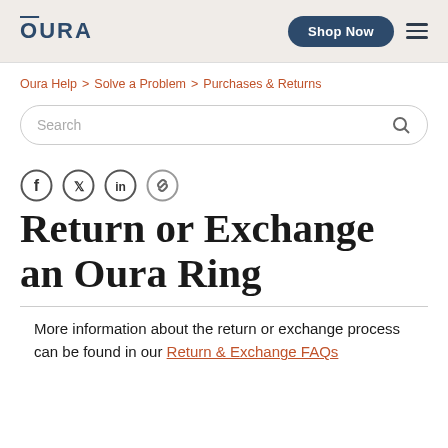OURA  Shop Now ≡
Oura Help > Solve a Problem > Purchases & Returns
Search
[Figure (other): Social share icons: Facebook, Twitter, LinkedIn, Link/Copy icon]
Return or Exchange an Oura Ring
More information about the return or exchange process can be found in our Return & Exchange FAQs